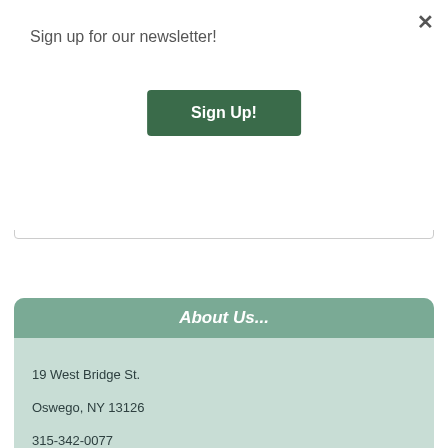Sign up for our newsletter!
Sign Up!
Kobo eBook (May 3rd, 2022): $9.99
Paperback (May 3rd, 2022): $15.99
About Us...
19 West Bridge St.
Oswego, NY 13126
315-342-0077
SPRING HOURS
Mon-Sat 10:00AM - 6:00PM
email
Who We Are
Directions